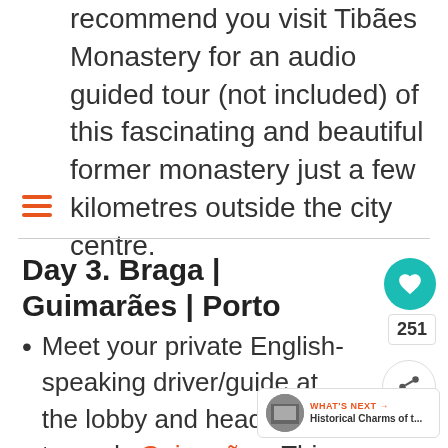recommend you visit Tibães Monastery for an audio guided tour (not included) of this fascinating and beautiful former monastery just a few kilometres outside the city centre.
Day 3. Braga | Guimarães | Porto
Meet your private English-speaking driver/guide at the lobby and head towards Guimarães. This ancient city